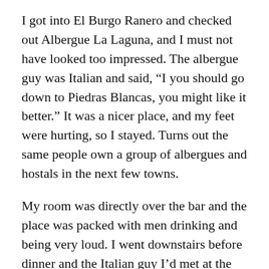I got into El Burgo Ranero and checked out Albergue La Laguna, and I must not have looked too impressed.  The albergue guy was Italian and said, “I you should go down to Piedras Blancas, you might like it better.”  It was a nicer place, and my feet were hurting, so I stayed. Turns out the same people own a group of albergues and hostals in the next few towns.
My room was directly over the bar and the place was packed with men drinking and being very loud.  I went downstairs before dinner and the Italian guy I’d met at the other albergue was hanging out there.  “Isabel! (I sometimes become Isabel because people in Spain couldn’t pronounce Beth) you must meet my friend.”  His friend was an older Spanish pilgrim whose Spanish was so fast, I got about every 20th word.  “Mas lento, por favor!” I said over and over, but he never slowed down and